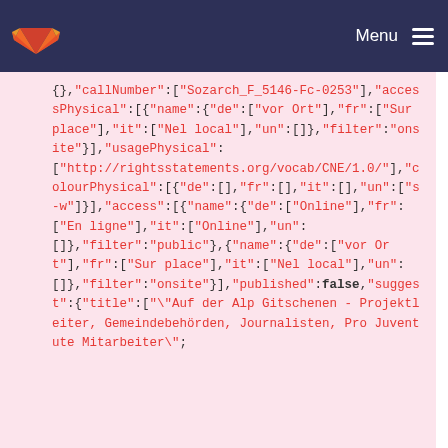Menu
{},"callNumber":["Sozarch_F_5146-Fc-0253"],"accessPhysical":[{"name":{"de":["vor Ort"],"fr":["Sur place"],"it":["Nel local"],"un":[]},"filter":"onsite"}],"usagePhysical":["http://rightsstatements.org/vocab/CNE/1.0/"],"colourPhysical":[{"de":[],"fr":[],"it":[],"un":["s-w"]}],"access":[{"name":{"de":["Online"],"fr":["En ligne"],"it":["Online"],"un":[]},"filter":"public"},{"name":{"de":["vor Ort"],"fr":["Sur place"],"it":["Nel local"],"un":[]},"filter":"onsite"}],"published":false,"suggest":{"title":["\"Auf der Alp Gitschenen - Projektleiter, Gemeindebehörden, Journalisten, Pro Juventute Mitarbeiter\";